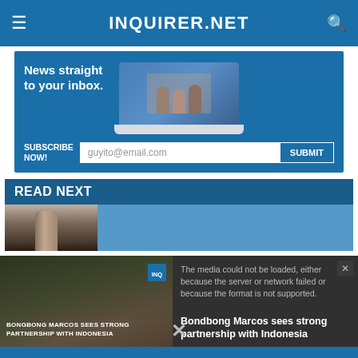INQUIRER.NET
[Figure (infographic): Newsletter subscription banner with laptop image, 'News straight to your inbox.' text, email input field showing 'guyito@email.com', and SUBMIT button]
READ NEXT
[Figure (photo): Partial photo thumbnail showing a dark cylindrical object against a blue background]
[Figure (screenshot): Video overlay with error message 'The media could not be loaded, either because the server or network failed or because the format is not supported.' and article headline 'Bondbong Marcos sees strong partnership with Indonesia']